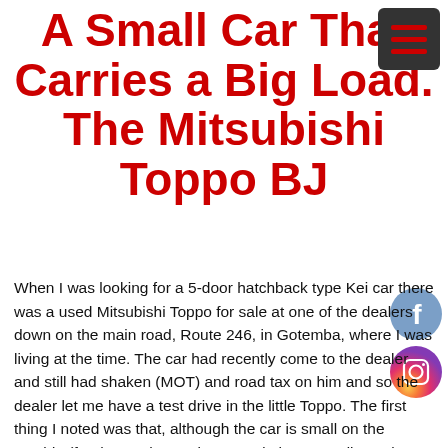A Small Car That Carries a Big Load. The Mitsubishi Toppo BJ
[Figure (other): Dark square hamburger menu button with three red horizontal lines]
[Figure (other): Facebook social media icon circle button]
[Figure (other): Instagram social media icon circle button]
When I was looking for a 5-door hatchback type Kei car there was a used Mitsubishi Toppo for sale at one of the dealers down on the main road, Route 246, in Gotemba, where I was living at the time. The car had recently come to the dealer and still had shaken (MOT) and road tax on him and so the dealer let me have a test drive in the little Toppo. The first thing I noted was that, although the car is small on the outside (for those who are interested, the exact dimensions are, length: 3,395mm, width: 1,475mm, height: 1,695mm), it was certainly big on the inside, surprisingly so. (1,715 x 1,220 x 1,425 if you're wondering).